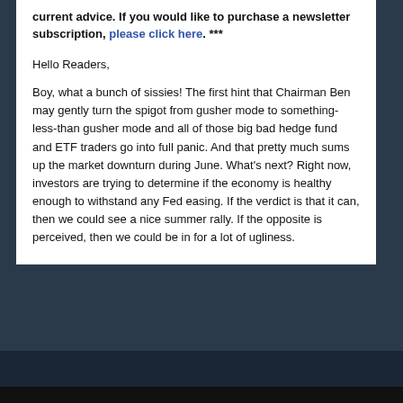current advice. If you would like to purchase a newsletter subscription, please click here. ***
Hello Readers,
Boy, what a bunch of sissies! The first hint that Chairman Ben may gently turn the spigot from gusher mode to something- less-than gusher mode and all of those big bad hedge fund and ETF traders go into full panic. And that pretty much sums up the market downturn during June. What's next? Right now, investors are trying to determine if the economy is healthy enough to withstand any Fed easing. If the verdict is that it can, then we could see a nice summer rally. If the opposite is perceived, then we could be in for a lot of ugliness.